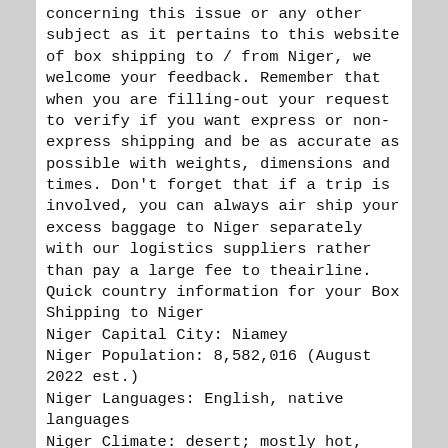concerning this issue or any other subject as it pertains to this website of box shipping to / from Niger, we welcome your feedback. Remember that when you are filling-out your request to verify if you want express or non-express shipping and be as accurate as possible with weights, dimensions and times. Don't forget that if a trip is involved, you can always air ship your excess baggage to Niger separately with our logistics suppliers rather than pay a large fee to theairline.
Quick country information for your Box Shipping to Niger
Niger Capital City: Niamey
Niger Population: 8,582,016 (August 2022 est.)
Niger Languages: English, native languages
Niger Climate: desert; mostly hot, dry, dusty; tropical in extreme south